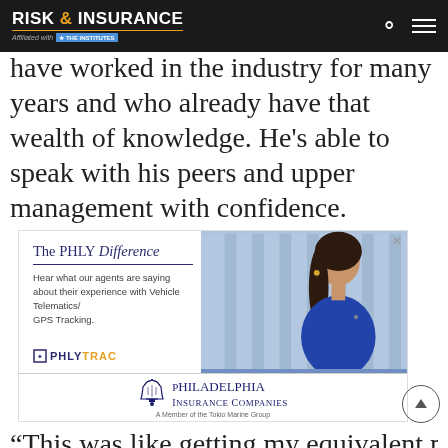RISK & INSURANCE | Affiliated with THE INSTITUTES
have worked in the industry for many years and who already have that wealth of knowledge. He’s able to speak with his peers and upper management with confidence.
[Figure (photo): Advertisement for PHLY TRAC by Philadelphia Insurance Companies. Shows 'The PHLY Difference' heading, text 'Hear what our agents are saying about their experience with Vehicle Telematics/GPS Tracking', PHLYTRAC logo, Philadelphia Insurance Companies logo with bell icon, 'A Member of the Tokio Marine Group' tagline, and a photo of a woman in a blue top.]
“This was like getting my equivalent master’s